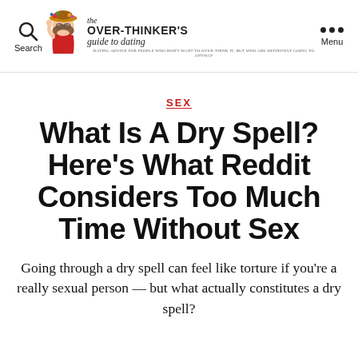Search | The Over-Thinker's Guide to Dating | Menu
SEX
What Is A Dry Spell? Here's What Reddit Considers Too Much Time Without Sex
Going through a dry spell can feel like torture if you're a really sexual person — but what actually constitutes a dry spell?